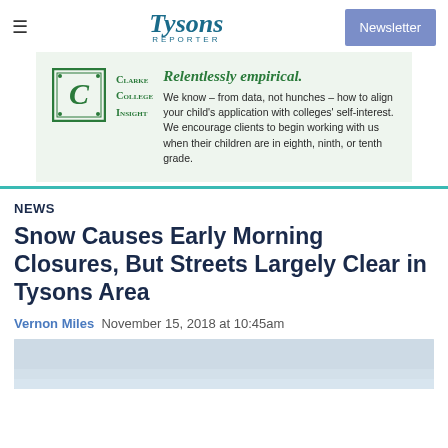Tysons Reporter — Newsletter
[Figure (illustration): Clarke College Insight advertisement with green decorative C logo. Tagline: Relentlessly empirical. Body: We know – from data, not hunches – how to align your child's application with colleges' self-interest. We encourage clients to begin working with us when their children are in eighth, ninth, or tenth grade.]
NEWS
Snow Causes Early Morning Closures, But Streets Largely Clear in Tysons Area
Vernon Miles  November 15, 2018 at 10:45am
[Figure (photo): Snow-covered surface, light blue-grey toned photograph.]